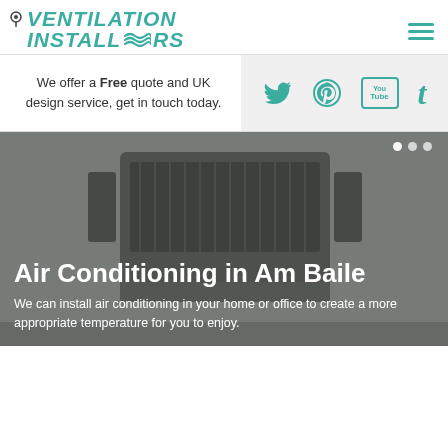[Figure (logo): Ventilation Installers logo with teal italic text, location pin icon, and wave symbol between INSTALL and RS]
We offer a Free quote and UK design service, get in touch today.
[Figure (other): Social media icons: Twitter bird, Pinterest P, YouTube, Tumblr t — all in teal color on light grey background]
Air Conditioning in Am Baile
We can install air conditioning in your home or office to create a more appropriate temperature for you to enjoy.